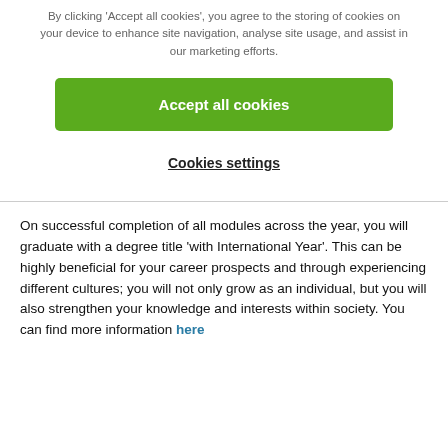By clicking 'Accept all cookies', you agree to the storing of cookies on your device to enhance site navigation, analyse site usage, and assist in our marketing efforts.
Accept all cookies
Cookies settings
On successful completion of all modules across the year, you will graduate with a degree title 'with International Year'. This can be highly beneficial for your career prospects and through experiencing different cultures; you will not only grow as an individual, but you will also strengthen your knowledge and interests within society. You can find more information here